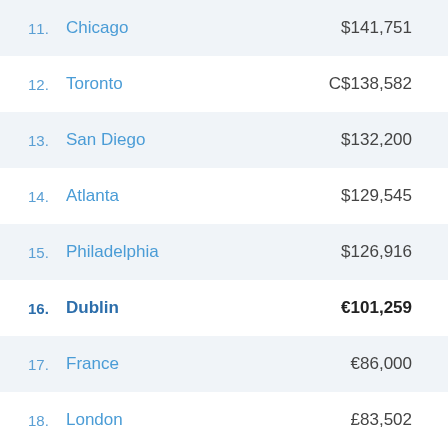11. Chicago  $141,751
12. Toronto  C$138,582
13. San Diego  $132,200
14. Atlanta  $129,545
15. Philadelphia  $126,916
16. Dublin  €101,259
17. France  €86,000
18. London  £83,502